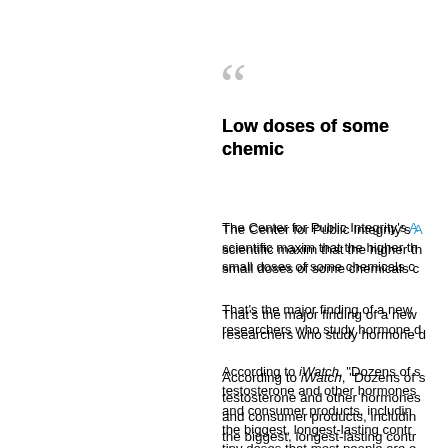[Figure (other): Large decorative open quotation marks in grey]
Low doses of some chemic...
The Center for Public Integrity's A... scientific maxim that the higher th... small doses of some chemicals c...
That's the major finding of a new... researchers who study hormone d...
According to iWatch, "Dozens of s... testosterone and other hormones... and consumer products, including... the biggest, longest-lasting contr... tiny doses that most people are e...
The scientists concluded scientifi... shouldn't be ignored," iWatch rep... health effects on humans, from fe... cardiovascular diseases, cancer a...
"[R]esearchers led by Tufts Unive... examining hundreds of studies th...